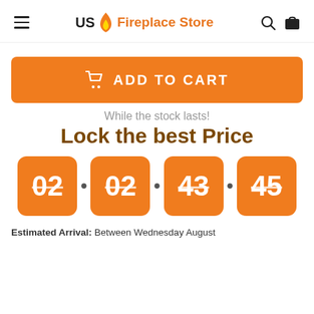US Fireplace Store
ADD TO CART
While the stock lasts!
Lock the best Price
02 : 02 : 43 : 45
Estimated Arrival: Between Wednesday August